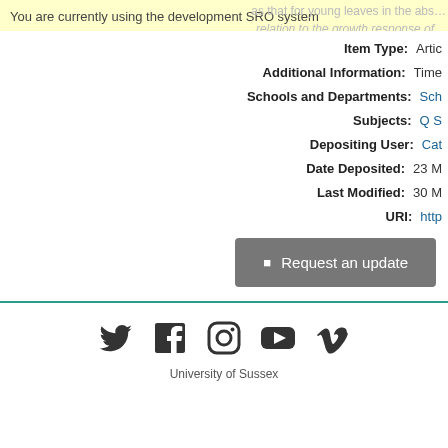You are currently using the development SRO system
as that for young leaves in the absence… relation to the growth response of…
| Field | Value |
| --- | --- |
| Item Type: | Artic… |
| Additional Information: | Time… |
| Schools and Departments: | Sch… |
| Subjects: | Q S… |
| Depositing User: | Cat… |
| Date Deposited: | 23 M… |
| Last Modified: | 30 M… |
| URI: | http… |
Request an update
[Figure (illustration): Social media icons: Twitter, Facebook, Instagram, YouTube, Vimeo]
University of Sussex